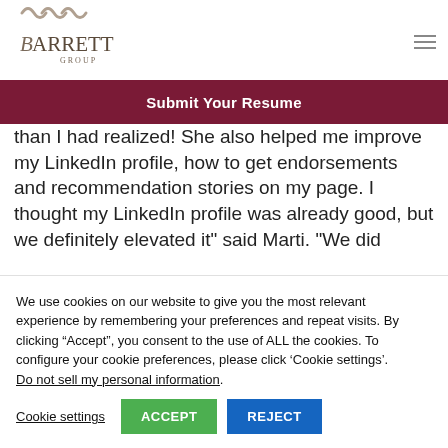[Figure (logo): Barrett Group logo with stylized wave marks above the text 'BARRETT GROUP']
Submit Your Resume
than I had realized! She also helped me improve my LinkedIn profile, how to get endorsements and recommendation stories on my page. I thought my LinkedIn profile was already good, but we definitely elevated it" said Marti. "We did
We use cookies on our website to give you the most relevant experience by remembering your preferences and repeat visits. By clicking “Accept”, you consent to the use of ALL the cookies. To configure your cookie preferences, please click ‘Cookie settings’.
Do not sell my personal information.
Cookie settings  ACCEPT  REJECT